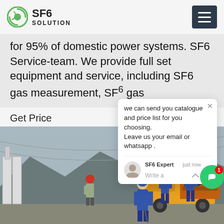SF6 SOLUTION
for 95% of domestic power systems. SF6 Service-team. We provide full set equipment and service, including SF6 gas measurement, SF6 gas...
Get Price
[Figure (photo): Workers in blue uniforms and hard hats working near yellow service truck and industrial equipment at electrical substation with power line towers in background]
we can send you catalogue and price list for you choosing. Leave us your email or whatsapp .
SF6 Expert   just now
Write a